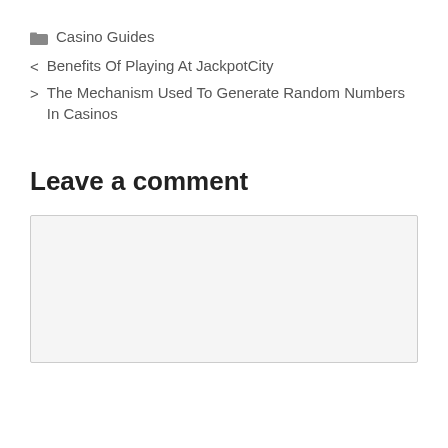Casino Guides
< Benefits Of Playing At JackpotCity
> The Mechanism Used To Generate Random Numbers In Casinos
Leave a comment